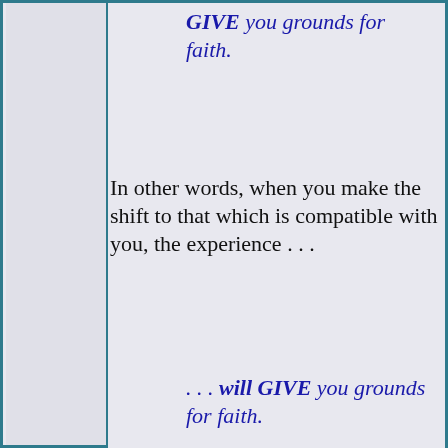GIVE you grounds for faith.
In other words, when you make the shift to that which is compatible with you, the experience . . .
. . . will GIVE you grounds for faith.
. . . because you'll see the truth and know that it is the truth and that it is eternal and anything less than that is an